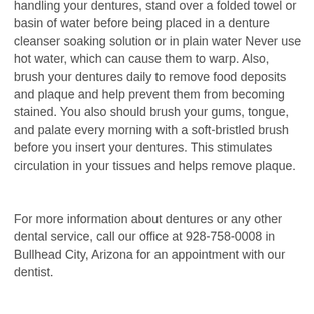Caring for your dentures is a simple process. When handling your dentures, stand over a folded towel or basin of water before being placed in a denture cleanser soaking solution or in plain water Never use hot water, which can cause them to warp. Also, brush your dentures daily to remove food deposits and plaque and help prevent them from becoming stained. You also should brush your gums, tongue, and palate every morning with a soft-bristled brush before you insert your dentures. This stimulates circulation in your tissues and helps remove plaque.
For more information about dentures or any other dental service, call our office at 928-758-0008 in Bullhead City, Arizona for an appointment with our dentist.